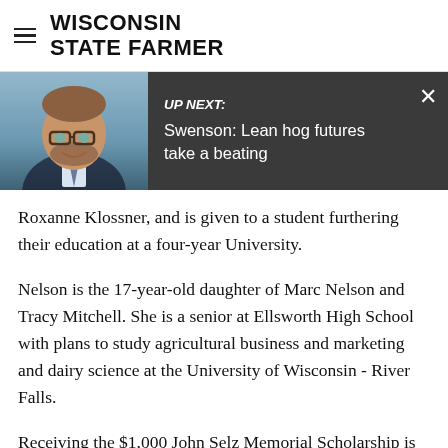WISCONSIN STATE FARMER
[Figure (screenshot): Up next banner with photo of a man (Marc Nelson) wearing glasses and a suit, with dark background overlay. Text reads 'UP NEXT: Swenson: Lean hog futures take a beating' with an X close button.]
Roxanne Klossner, and is given to a student furthering their education at a four-year University.
Nelson is the 17-year-old daughter of Marc Nelson and Tracy Mitchell. She is a senior at Ellsworth High School with plans to study agricultural business and marketing and dairy science at the University of Wisconsin - River Falls.
Receiving the $1,000 John Selz Memorial Scholarship is Paige Nelson of Ellsworth. This scholarship is for...